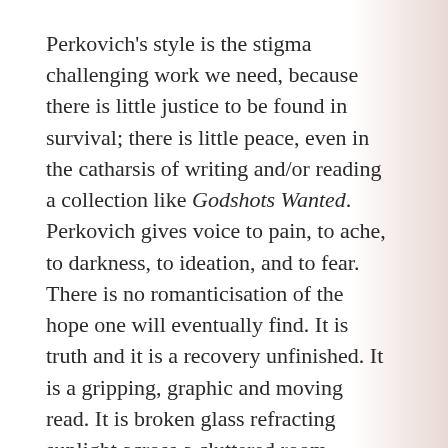Perkovich's style is the stigma challenging work we need, because there is little justice to be found in survival; there is little peace, even in the catharsis of writing and/or reading a collection like Godshots Wanted. Perkovich gives voice to pain, to ache, to darkness, to ideation, and to fear. There is no romanticisation of the hope one will eventually find. It is truth and it is a recovery unfinished. It is a gripping, graphic and moving read. It is broken glass refracting sunlight across a cluttered room.
Godshots Wanted is a feat of brilliance. For the way Perkovich's talent resounds off every page, it must be celebrated in